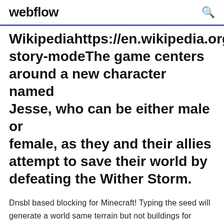webflow
Wikipediahttps://en.wikipedia.org/wiki/story-modeThe game centers around a new character named Jesse, who can be either male or female, as they and their allies attempt to save their world by defeating the Wither Storm.
Dnsbl based blocking for Minecraft! Typing the seed will generate a world same terrain but not buildings for installing maps follow this: 1.Download The map you want (there is a download button above) 2.Unpack it (if its RAR or ZIP) 3.Copy the Unpacked map to C:\Users\YOUR... NEW Video: https://www....